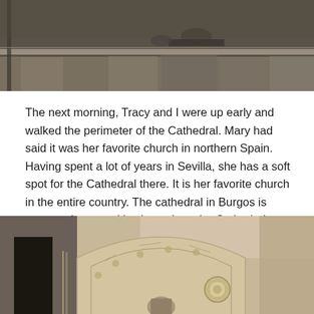[Figure (photo): Close-up photograph of stone cathedral exterior showing carved gargoyle or stone figure on architectural ledge, dark stone tones]
The next morning, Tracy and I were up early and walked the perimeter of the Cathedral. Mary had said it was her favorite church in northern Spain. Having spent a lot of years in Sevilla, she has a soft spot for the Cathedral there. It is her favorite church in the entire country. The cathedral in Burgos is apparently second in size only to the Cathedral Giralda in Sevilla.
[Figure (photo): Photograph of cathedral stone archway and facade details, showing ornate arched entrance with decorative stonework and medallion, warm beige stone tones]